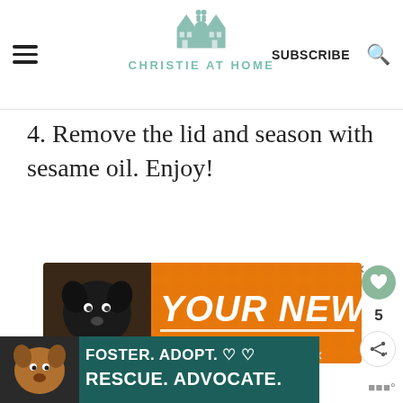CHRISTIE AT HOME
4. Remove the lid and season with sesame oil. Enjoy!
[Figure (infographic): Orange advertisement banner reading 'YOUR NEW BFF' with a black dog image on the left side]
[Figure (infographic): Teal/dark advertisement banner reading 'FOSTER. ADOPT. RESCUE. ADVOCATE.' with a dog image on the left]